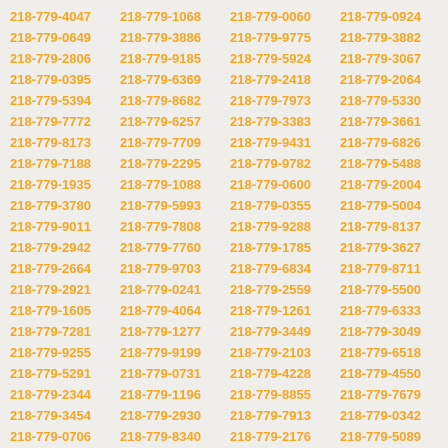218-779-4047 218-779-1068 218-779-0060 218-779-0924 218-779-0649 218-779-3886 218-779-9775 218-779-3882 218-779-2806 218-779-9185 218-779-5924 218-779-3067 218-779-0395 218-779-6369 218-779-2418 218-779-2064 218-779-5394 218-779-8682 218-779-7973 218-779-5330 218-779-7772 218-779-6257 218-779-3383 218-779-3661 218-779-8173 218-779-7709 218-779-9431 218-779-6826 218-779-7188 218-779-2295 218-779-9782 218-779-5488 218-779-1935 218-779-1088 218-779-0600 218-779-2004 218-779-3780 218-779-5993 218-779-0355 218-779-5004 218-779-9011 218-779-7808 218-779-9288 218-779-8137 218-779-2942 218-779-7760 218-779-1785 218-779-3627 218-779-2664 218-779-9703 218-779-6834 218-779-8711 218-779-2921 218-779-0241 218-779-2559 218-779-5500 218-779-1605 218-779-4064 218-779-1261 218-779-6333 218-779-7281 218-779-1277 218-779-3449 218-779-3049 218-779-9255 218-779-9199 218-779-2103 218-779-6518 218-779-5291 218-779-0731 218-779-4228 218-779-4550 218-779-2344 218-779-1196 218-779-8855 218-779-7679 218-779-3454 218-779-2930 218-779-7913 218-779-0342 218-779-0706 218-779-8340 218-779-2176 218-779-5089 218-779-7275 218-779-2017 218-779-1923 218-779-3546 218-779-5021 218-779-8970 218-779-5514 218-779-0517 218-779-4971 218-779-9049 218-779-4997 218-779-7012 218-779-3571 218-779-1619 218-779-1584 218-779-3422 218-779-7096 218-779-0473 218-779-6584 218-779-6598 218-779-3323 218-779-3485 218-779-1435 218-779-6908 218-779-5992 218-779-6135 218-779-6960 218-779-1758 218-779-1564 218-779-5667 218-779-2780 218-779-9437 218-779-9053 218-779-8132 218-779-8067 218-779-5610